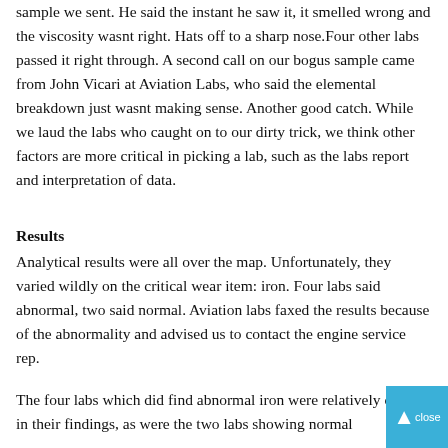sample we sent. He said the instant he saw it, it smelled wrong and the viscosity wasnt right. Hats off to a sharp nose.Four other labs passed it right through. A second call on our bogus sample came from John Vicari at Aviation Labs, who said the elemental breakdown just wasnt making sense. Another good catch. While we laud the labs who caught on to our dirty trick, we think other factors are more critical in picking a lab, such as the labs report and interpretation of data.
Results
Analytical results were all over the map. Unfortunately, they varied wildly on the critical wear item: iron. Four labs said abnormal, two said normal. Aviation labs faxed the results because of the abnormality and advised us to contact the engine service rep.
The four labs which did find abnormal iron were relatively close in their findings, as were the two labs showing normal